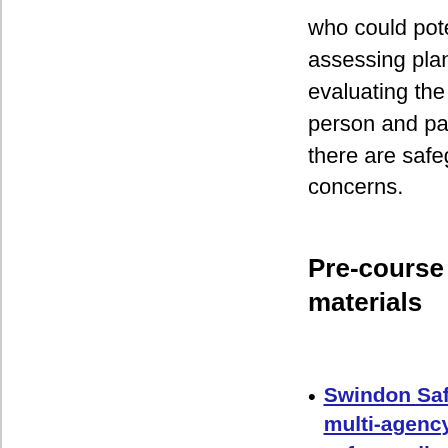who could potentially contribute to assessing planning intervening and evaluating the needs of a child or young person and parenting capacity where there are safeguarding/child protection concerns.
Pre-course reading and materials
Swindon Safeguarding Partnership multi-agency standards for safeguarding